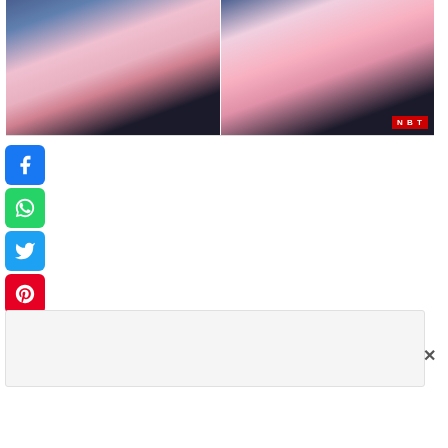[Figure (photo): Two women posing outdoors wearing pink and blue outfits, shown as a side-by-side composite image with NBT watermark in the bottom right corner]
[Figure (infographic): Vertical stack of social media share buttons: Facebook (blue), WhatsApp (green), Twitter (blue), Pinterest (red)]
[Figure (other): Advertisement placeholder box with a close (X) button in the upper right corner]